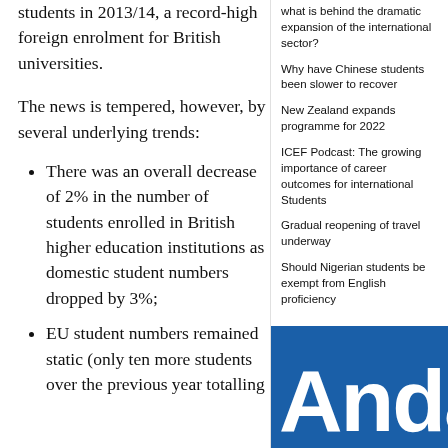students in 2013/14, a record-high foreign enrolment for British universities.
The news is tempered, however, by several underlying trends:
There was an overall decrease of 2% in the number of students enrolled in British higher education institutions as domestic student numbers dropped by 3%;
EU student numbers remained static (only ten more students over the previous year totalling
what is behind the dramatic expansion of the international sector?
Why have Chinese students been slower to recover
New Zealand expands programme for 2022
ICEF Podcast: The growing importance of career outcomes for international Students
Gradual reopening of travel underway
Should Nigerian students be exempt from English proficiency
[Figure (illustration): Blue background with white stylized text reading 'Anda' (partial, cropped)]